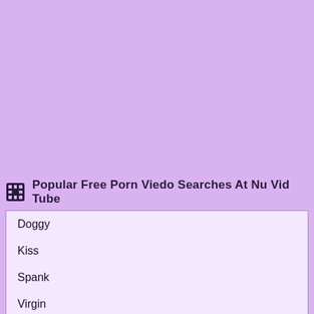Popular Free Porn Viedo Searches At Nu Vid Tube
Doggy
Kiss
Spank
Virgin
3d
Thai